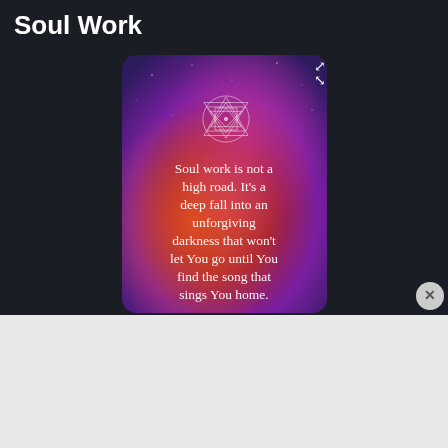Soul Work
[Figure (illustration): Card with cosmic/galaxy background (orange, red, purple, dark blue) featuring a Sri Yantra geometric symbol at top and white serif text reading: Soul work is not a high road. It’s a deep fall into an unforgiving darkness that won’t let You go until You find the song that sings You home.]
Advertisement
[Figure (infographic): DuckDuckGo advertisement banner with orange background. Left side: white bold text 'Search, browse, and email with more privacy.' with a white button 'All in One Free App'. Right side: image of a smartphone with DuckDuckGo logo and wordmark.]